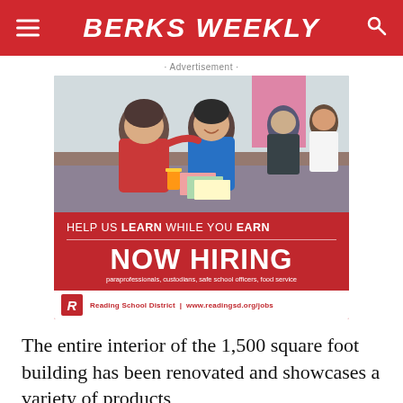BERKS WEEKLY
· Advertisement ·
[Figure (photo): Reading School District advertisement showing elementary school children in a classroom interacting and smiling, with red background section below reading: HELP US LEARN WHILE YOU EARN / NOW HIRING / paraprofessionals, custodians, safe school officers, food service / Reading School District | www.readingsd.org/jobs]
The entire interior of the 1,500 square foot building has been renovated and showcases a variety of products